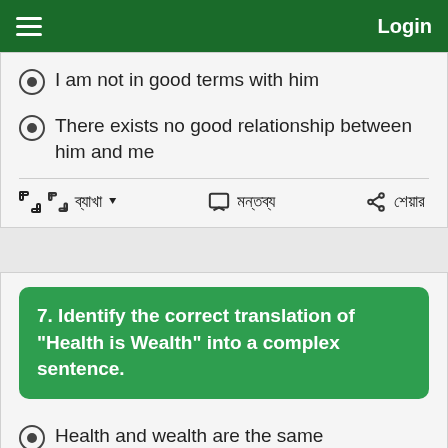Login
I am not in good terms with him
There exists no good relationship between him and me
ব্যাখা  মন্তব্য  শেয়ার
7. Identify the correct translation of "Health is Wealth" into a complex sentence.
Health and wealth are the same
It is health which is wealth